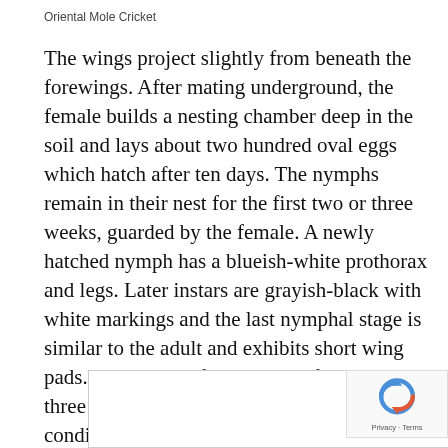Oriental Mole Cricket
The wings project slightly from beneath the forewings. After mating underground, the female builds a nesting chamber deep in the soil and lays about two hundred oval eggs which hatch after ten days. The nymphs remain in their nest for the first two or three weeks, guarded by the female. A newly hatched nymph has a blueish-white prothorax and legs. Later instars are grayish-black with white markings and the last nymphal stage is similar to the adult and exhibits short wing pads. The whole life cycle lasts for one to three years depending on the climatic conditions. The adults and later instar nymphs spend the winter underground at a depth of about a metre.
[Figure (screenshot): Partial bottom section showing beginning of a new content box, with a reCAPTCHA badge in the bottom-right corner showing Privacy and Terms links.]